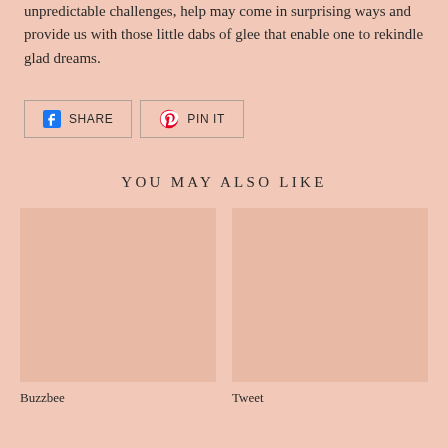unpredictable challenges, help may come in surprising ways and provide us with those little dabs of glee that enable one to rekindle glad dreams.
[Figure (other): Social share buttons: Facebook Share and Pinterest Pin It]
YOU MAY ALSO LIKE
[Figure (photo): Product image placeholder for Buzzbee]
Buzzbee
[Figure (photo): Product image placeholder for Tweet]
Tweet